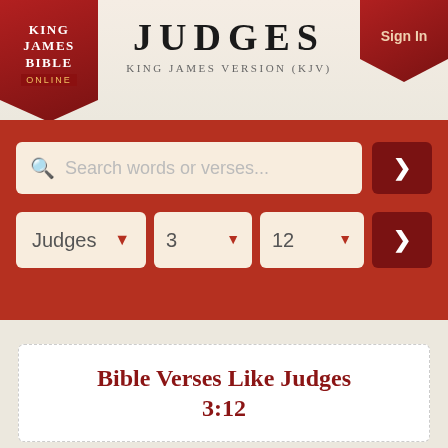JUDGES
King James Version (KJV)
[Figure (logo): King James Bible Online logo — red banner with white text]
[Figure (screenshot): Sign In button — dark red ribbon top right]
Search words or verses...
Judges  3  12
Bible Verses Like Judges 3:12